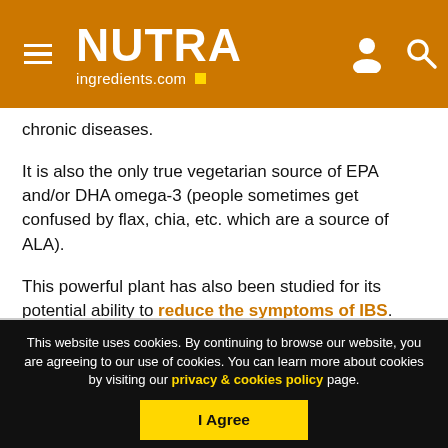NUTRAingredients.com
chronic diseases.
It is also the only true vegetarian source of EPA and/or DHA omega-3 (people sometimes get confused by flax, chia, etc. which are a source of ALA).
This powerful plant has also been studied for its potential ability to reduce the symptoms of IBS.
This website uses cookies. By continuing to browse our website, you are agreeing to our use of cookies. You can learn more about cookies by visiting our privacy & cookies policy page.